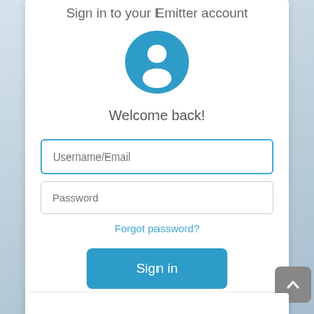Sign in to your Emitter account
[Figure (illustration): Blue circle with white user/person icon silhouette in center]
Welcome back!
Username/Email
Password
Forgot password?
Sign in